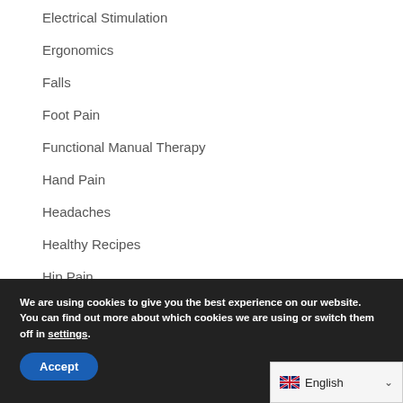Electrical Stimulation
Ergonomics
Falls
Foot Pain
Functional Manual Therapy
Hand Pain
Headaches
Healthy Recipes
Hip Pain
Joint Mobility
We are using cookies to give you the best experience on our website.
You can find out more about which cookies we are using or switch them off in settings.